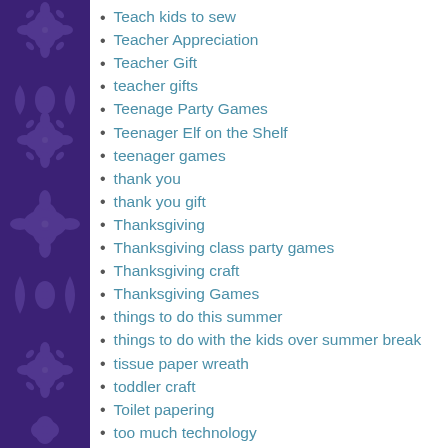Teach kids to sew
Teacher Appreciation
Teacher Gift
teacher gifts
Teenage Party Games
Teenager Elf on the Shelf
teenager games
thank you
thank you gift
Thanksgiving
Thanksgiving class party games
Thanksgiving craft
Thanksgiving Games
things to do this summer
things to do with the kids over summer break
tissue paper wreath
toddler craft
Toilet papering
too much technology